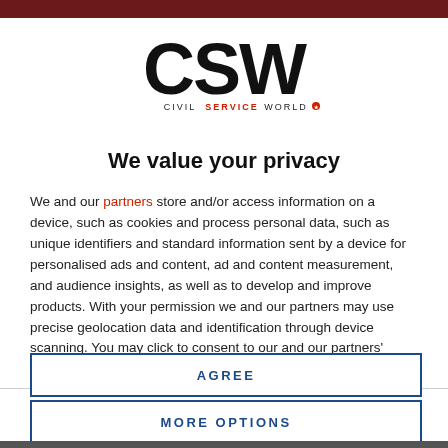[Figure (logo): CSW Civil Service World logo — large bold black 'CSW' letters above smaller text 'CIVIL SERVICE WORLD' with a red accent on 'SERVICE']
We value your privacy
We and our partners store and/or access information on a device, such as cookies and process personal data, such as unique identifiers and standard information sent by a device for personalised ads and content, ad and content measurement, and audience insights, as well as to develop and improve products. With your permission we and our partners may use precise geolocation data and identification through device scanning. You may click to consent to our and our partners' processing as described above. Alternatively you may access more
AGREE
MORE OPTIONS